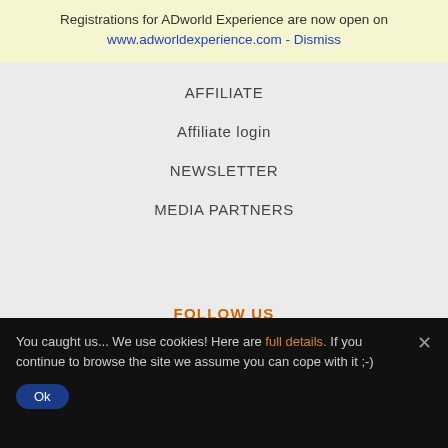Registrations for ADworld Experience are now open on www.adworldexperience.com - Dismiss
AFFILIATE
Affiliate login
NEWSLETTER
MEDIA PARTNERS
FOLLOW US
TWITTER
You caught us... We use cookies! Here are full details. If you continue to browse the site we assume you can cope with it ;-)
Ok